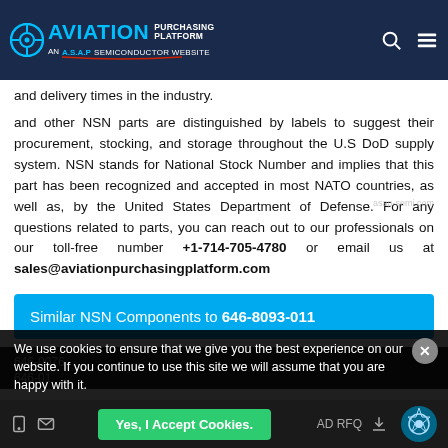Aviation Purchasing Platform - AN A.S.A.P Semiconductor Website
and delivery times in the industry.
and other NSN parts are distinguished by labels to suggest their procurement, stocking, and storage throughout the U.S DoD supply system. NSN stands for National Stock Number and implies that this part has been recognized and accepted in most NATO countries, as well as, by the United States Department of Defense. For any questions related to parts, you can reach out to our professionals on our toll-free number +1-714-705-4780 or email us at sales@aviationpurchasingplatform.com
Similar NSN Components to 646-8093-011
646-0076
646-01
We use cookies to ensure that we give you the best experience on our website. If you continue to use this site we will assume that you are happy with it.